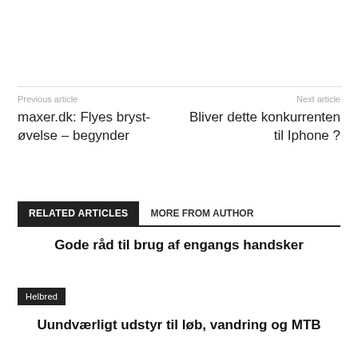Previous article
Next article
maxer.dk: Flyes bryst-øvelse – begynder
Bliver dette konkurrenten til Iphone ?
RELATED ARTICLES
MORE FROM AUTHOR
Gode råd til brug af engangs handsker
Helbred
Uundværligt udstyr til løb, vandring og MTB